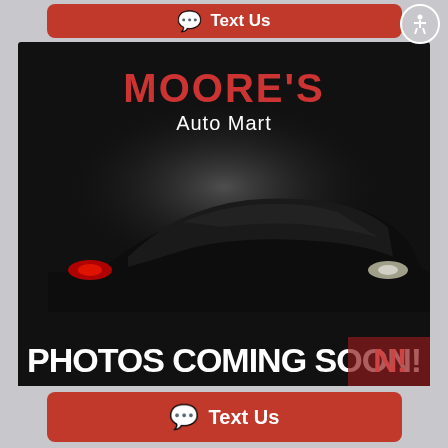[Figure (screenshot): Top red 'Text Us' button with chat bubble icon, partially cropped at top of page]
[Figure (photo): Moore's Auto Mart dealer placeholder image showing silhouette of a car in dark background with red tail lights and white headlights, with text 'MOORE'S Auto Mart' at top and 'PHOTOS COMING SOON!' at bottom in bold white letters]
[Figure (screenshot): Bottom red 'Text Us' button with chat bubble icon]